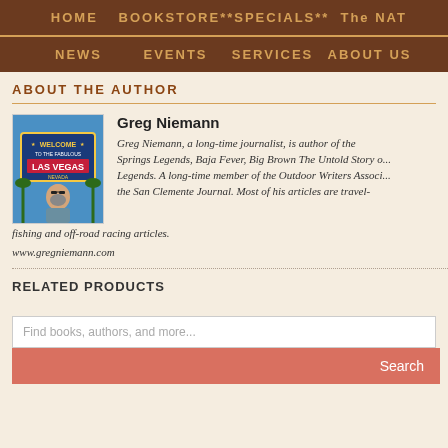HOME   BOOKSTORE   **SPECIALS**   The NAT   NEWS   EVENTS   SERVICES   ABOUT US
ABOUT THE AUTHOR
[Figure (photo): Photo of Greg Niemann in front of a Las Vegas welcome sign]
Greg Niemann
Greg Niemann, a long-time journalist, is author of the Springs Legends, Baja Fever, Big Brown The Untold Story o... Legends. A long-time member of the Outdoor Writers Associ... the San Clemente Journal. Most of his articles are travel-fishing and off-road racing articles.
www.gregniemann.com
RELATED PRODUCTS
Find books, authors, and more...
Search